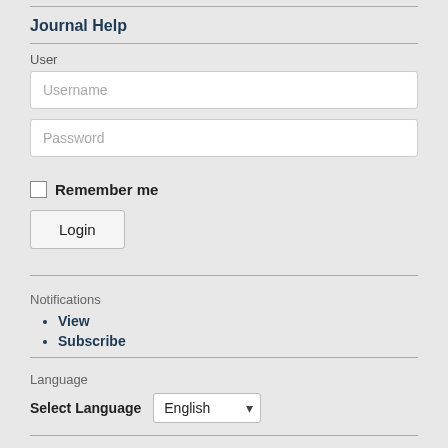Journal Help
User
[Figure (screenshot): Username input field (text box with placeholder 'Username')]
[Figure (screenshot): Password input field (text box with placeholder 'Password')]
Remember me (checkbox)
[Figure (screenshot): Login button]
Notifications
View
Subscribe
Language
Select Language: English